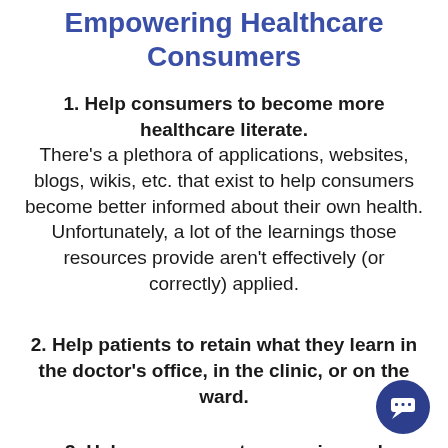Empowering Healthcare Consumers
1. Help consumers to become more healthcare literate. There’s a plethora of applications, websites, blogs, wikis, etc. that exist to help consumers become better informed about their own health. Unfortunately, a lot of the learnings those resources provide aren’t effectively (or correctly) applied.
2. Help patients to retain what they learn in the doctor’s office, in the clinic, or on the ward.
3. Help consumers to conceive and